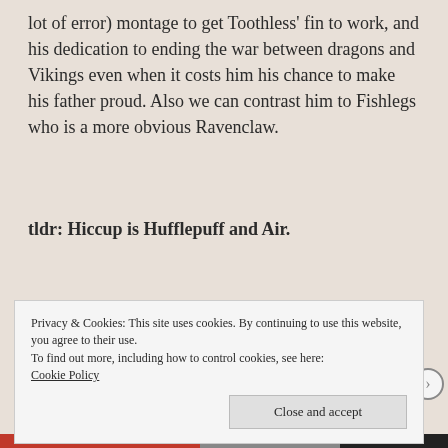lot of error) montage to get Toothless' fin to work, and his dedication to ending the war between dragons and Vikings even when it costs him his chance to make his father proud. Also we can contrast him to Fishlegs who is a more obvious Ravenclaw.
tldr: Hiccup is Hufflepuff and Air.
–
Privacy & Cookies: This site uses cookies. By continuing to use this website, you agree to their use.
To find out more, including how to control cookies, see here:
Cookie Policy
Close and accept